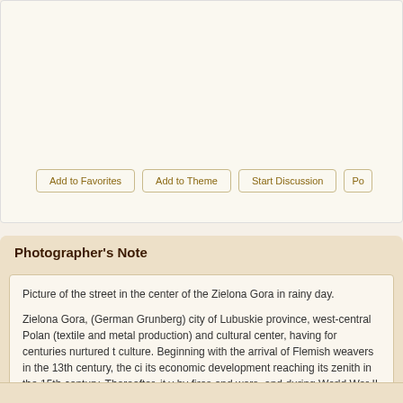[Figure (other): Top card area with cream/off-white background, partially visible (cropped image area)]
Add to Favorites | Add to Theme | Start Discussion | Po...
Photographer's Note
Picture of the street in the center of the Zielona Gora in rainy day.

Zielona Gora, (German Grunberg) city of Lubuskie province, west-central Poland (textile and metal production) and cultural center, having for centuries nurtured its culture. Beginning with the arrival of Flemish weavers in the 13th century, the city its economic development reaching its zenith in the 15th century. Thereafter, it was by fires and wars, and during World War II about 30 percent of the city was dam...